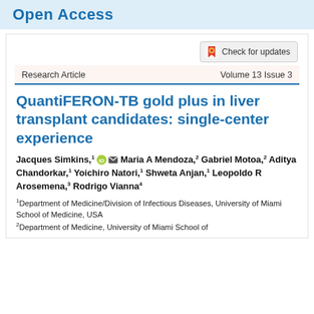Open Access
[Figure (logo): Check for updates button with bookmark icon]
Research Article    Volume 13 Issue 3
QuantiFERON-TB gold plus in liver transplant candidates: single-center experience
Jacques Simkins,1 Maria A Mendoza,2 Gabriel Motoa,2 Aditya Chandorkar,1 Yoichiro Natori,1 Shweta Anjan,1 Leopoldo R Arosemena,3 Rodrigo Vianna4
1Department of Medicine/Division of Infectious Diseases, University of Miami School of Medicine, USA
2Department of Medicine, University of Miami School of